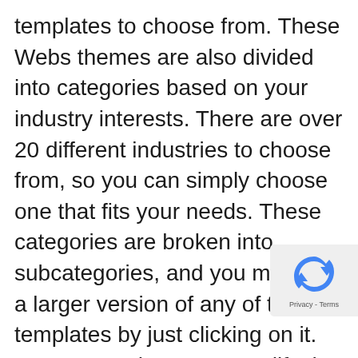templates to choose from. These Webs themes are also divided into categories based on your industry interests. There are over 20 different industries to choose from, so you can simply choose one that fits your needs. These categories are broken into subcategories, and you may see a larger version of any of these templates by just clicking on it. You cannot, however, modify the HTML or CSS of the templates, unlike others. So, if you want to employ a professional website design specialist to make changes to the design for you, Webs is not an option. Webs, on the other hand, offers a wide range of customisation choices. Some of these themes include different colour schemes and you can change the background image, and if you desire. The